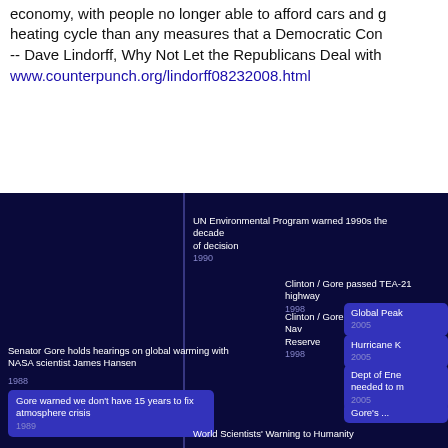economy, with people no longer able to afford cars and g heating cycle than any measures that a Democratic Con -- Dave Lindorff, Why Not Let the Republicans Deal with
www.counterpunch.org/lindorff08232008.html
[Figure (infographic): Dark blue/navy background timeline infographic showing climate and political events. Events visible include: 'UN Environmental Program warned 1990s the decade of decision 1990', 'Clinton / Gore passed TEA-21 highway 1998', 'Clinton / Gore opened up Alaska's Naval Reserve 1998', 'Senator Gore holds hearings on global warming with NASA scientist James Hansen 1988', 'Gore warned we don't have 15 years to fix atmosphere crisis 1989', 'World Scientists Warning to Humanity 1992', 'Global Peak 2005', 'Hurricane K 2005', 'Dept of Ene needed to m 2005', 'Gore's ...'. A vertical timeline line runs through the center.]